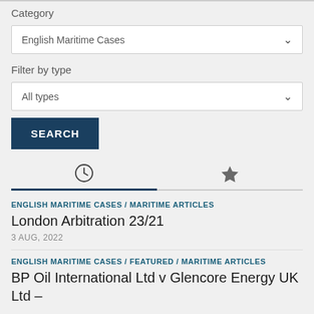Category
English Maritime Cases
Filter by type
All types
SEARCH
ENGLISH MARITIME CASES / MARITIME ARTICLES
London Arbitration 23/21
3 AUG, 2022
ENGLISH MARITIME CASES / FEATURED / MARITIME ARTICLES
BP Oil International Ltd v Glencore Energy UK Ltd –